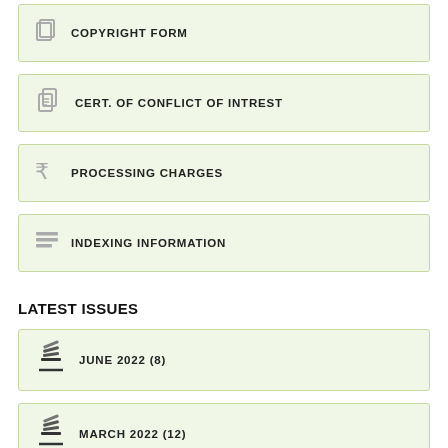COPYRIGHT FORM
CERT. OF CONFLICT OF INTREST
PROCESSING CHARGES
INDEXING INFORMATION
LATEST ISSUES
JUNE 2022 (8)
MARCH 2022 (12)
DECEMBER 2021 (12)